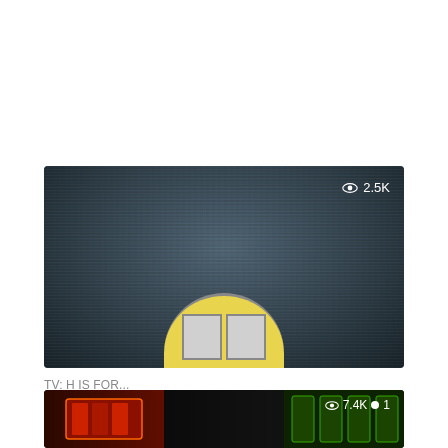[Figure (screenshot): TV show thumbnail showing static noise / TV grain background with a yellow house/sun shape at the bottom center. View count 2.5K shown with eye icon in top right of thumbnail.]
TV: H IS FOR...
Horse in the House
Kids drama involving a posh girl in a large mansion where shenanigans are going down.
[Figure (screenshot): Partial thumbnail at bottom showing dark background with colorful game/show cards on left and right sides. View count 7.4K shown with eye icon, and dot with number 1.]